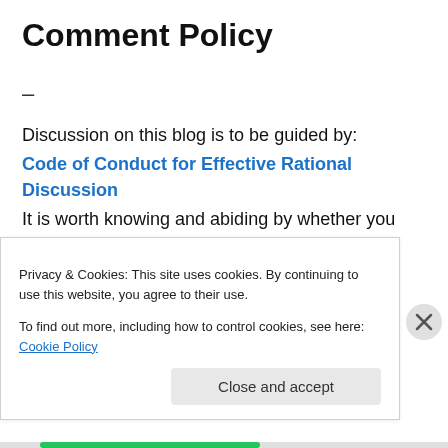Comment Policy
–
Discussion on this blog is to be guided by:
Code of Conduct for Effective Rational Discussion
It is worth knowing and abiding by whether you comment on this blog or not.
Comments that are not relevant to the post that they appear under or the evolving discussion will simply be
Privacy & Cookies: This site uses cookies. By continuing to use this website, you agree to their use.
To find out more, including how to control cookies, see here: Cookie Policy
Close and accept